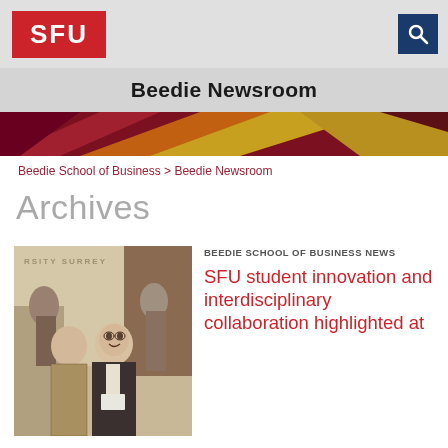[Figure (logo): SFU red logo block with white text 'SFU']
Beedie Newsroom
[Figure (illustration): Decorative geometric banner with red, orange, gold, and dark red diagonal shapes]
Beedie School of Business > Beedie Newsroom
Archives
[Figure (photo): Photo of people at an event, text 'RSITY SURREY' visible in background, two men in foreground one smiling in grey jacket]
BEEDIE SCHOOL OF BUSINESS NEWS
SFU student innovation and interdisciplinary collaboration highlighted at